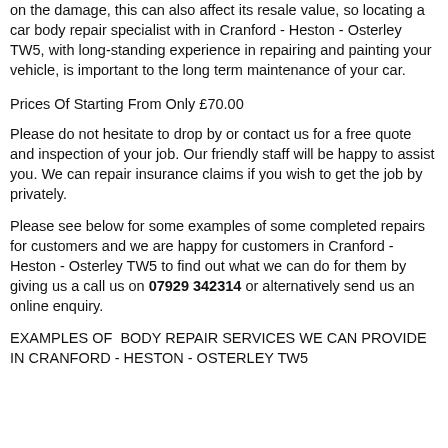on the damage, this can also affect its resale value, so locating a car body repair specialist with in Cranford - Heston - Osterley TW5, with long-standing experience in repairing and painting your vehicle, is important to the long term maintenance of your car.
Prices Of Starting From Only £70.00
Please do not hesitate to drop by or contact us for a free quote and inspection of your job. Our friendly staff will be happy to assist you. We can repair insurance claims if you wish to get the job by privately.
Please see below for some examples of some completed repairs for customers and we are happy for customers in Cranford - Heston - Osterley TW5 to find out what we can do for them by giving us a call us on 07929 342314 or alternatively send us an online enquiry.
EXAMPLES OF BODY REPAIR SERVICES WE CAN PROVIDE IN CRANFORD - HESTON - OSTERLEY TW5